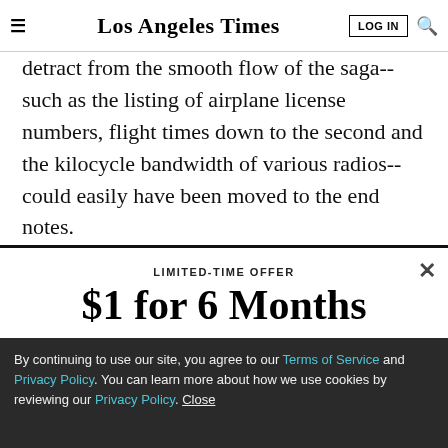Los Angeles Times
detract from the smooth flow of the saga--such as the listing of airplane license numbers, flight times down to the second and the kilocycle bandwidth of various radios--could easily have been moved to the end notes.
LIMITED-TIME OFFER
$1 for 6 Months
SUBSCRIBE NOW
By continuing to use our site, you agree to our Terms of Service and Privacy Policy. You can learn more about how we use cookies by reviewing our Privacy Policy. Close